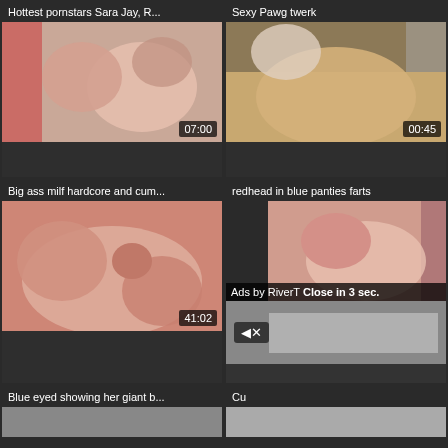Hottest pornstars Sara Jay, R...
07:00
Sexy Pawg twerk
00:45
Big ass milf hardcore and cum...
41:02
redhead in blue panties farts
Ads by RiverT Close in 3 sec.
Blue eyed showing her giant b...
Cu